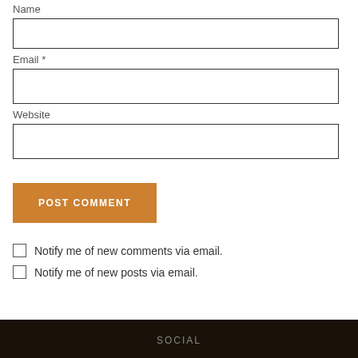Name
Email *
Website
POST COMMENT
Notify me of new comments via email.
Notify me of new posts via email.
SOCIAL